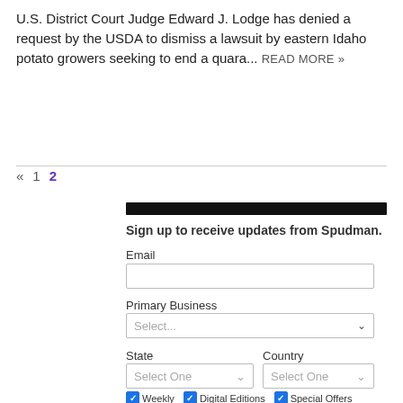U.S. District Court Judge Edward J. Lodge has denied a request by the USDA to dismiss a lawsuit by eastern Idaho potato growers seeking to end a quara... READ MORE »
« 1 2
Sign up to receive updates from Spudman.
Email
Primary Business
Select...
State
Country
Select One
Select One
Weekly  Digital Editions  Special Offers